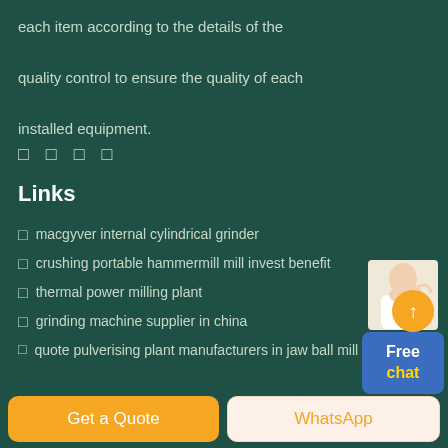each item according to the details of the quality control to ensure the quality of each installed equipment.
Links
macgyver internal cylindrical grinder
crushing portable hammermill mill invest benefit
thermal power milling plant
grinding machine supplier in china
quote pulverising plant manufacturers in jaw ball mill